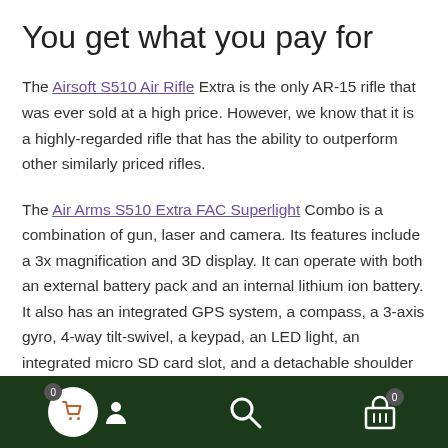You get what you pay for
The Airsoft S510 Air Rifle Extra is the only AR-15 rifle that was ever sold at a high price. However, we know that it is a highly-regarded rifle that has the ability to outperform other similarly priced rifles.
The Air Arms S510 Extra FAC Superlight Combo is a combination of gun, laser and camera. Its features include a 3x magnification and 3D display. It can operate with both an external battery pack and an internal lithium ion battery. It also has an integrated GPS system, a compass, a 3-axis gyro, 4-way tilt-swivel, a keypad, an LED light, an integrated micro SD card slot, and a detachable shoulder